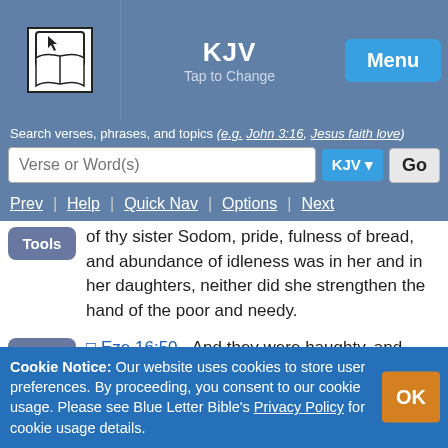KJV | Tap to Change | Menu
Search verses, phrases, and topics (e.g. John 3:16, Jesus faith love)
Verse or Word(s) | KJV | Go
Prev | Help | Quick Nav | Options | Next
of thy sister Sodom, pride, fulness of bread, and abundance of idleness was in her and in her daughters, neither did she strengthen the hand of the poor and needy.
Eze 16:50 - And they were haughty, and committed abomination before me: therefore I took them away as I saw good.
Cookie Notice: Our website uses cookies to store user preferences. By proceeding, you consent to our cookie usage. Please see Blue Letter Bible's Privacy Policy for cookie usage details.